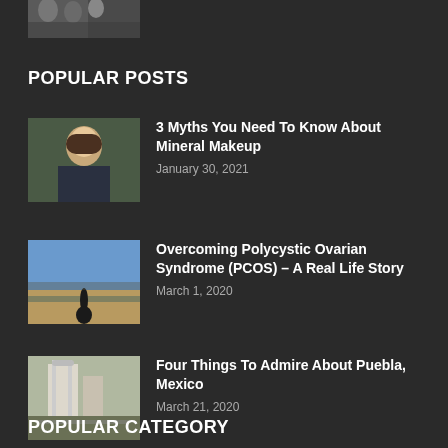[Figure (photo): Partial photo visible at top of page, cropped group of people]
POPULAR POSTS
[Figure (photo): Woman in strapless dress with pearl necklace]
3 Myths You Need To Know About Mineral Makeup
January 30, 2021
[Figure (photo): Woman in black dress standing on a road with dramatic sky]
Overcoming Polycystic Ovarian Syndrome (PCOS) – A Real Life Story
March 1, 2020
[Figure (photo): Church or cathedral building in Puebla Mexico]
Four Things To Admire About Puebla, Mexico
March 21, 2020
POPULAR CATEGORY